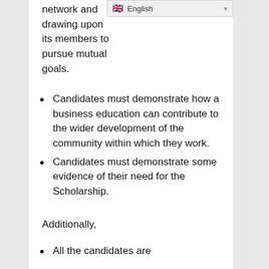network and drawing upon its members to pursue mutual goals.
Candidates must demonstrate how a business education can contribute to the wider development of the community within which they work.
Candidates must demonstrate some evidence of their need for the Scholarship.
Additionally,
All the candidates are